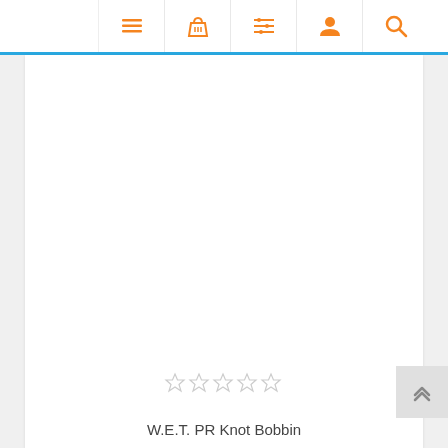Navigation bar with icons: menu, basket, list, user, search
[Figure (photo): Large white product image area for W.E.T. PR Knot Bobbin (image not loaded)]
☆☆☆☆☆
W.E.T. PR Knot Bobbin